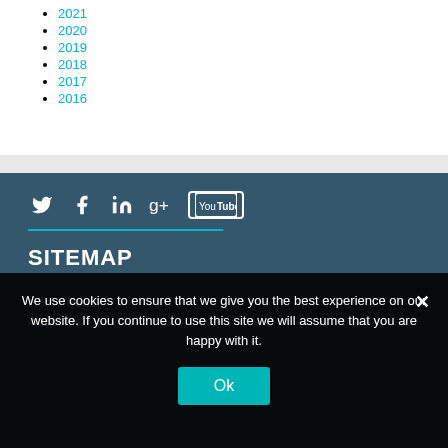2021
2020
2019
2018
2017
2016
[Figure (infographic): Social media icons: Twitter, Facebook, LinkedIn, Google+, YouTube]
SITEMAP
Home Page
About Us
We use cookies to ensure that we give you the best experience on our website. If you continue to use this site we will assume that you are happy with it.